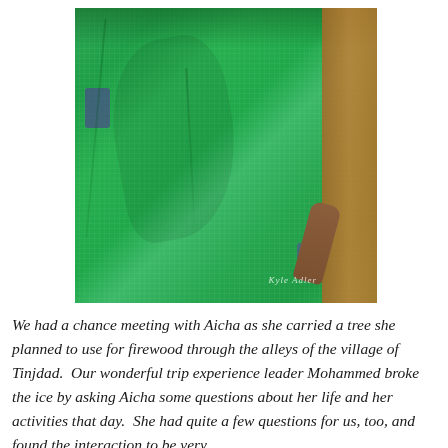[Figure (photo): Close-up photograph of a person wearing a vibrant green woven fabric/shawl, draped in flowing folds. A brown earthen wall is visible on the right side. A glimpse of blue/purple garment is visible underneath the green fabric. A cursive watermark signature appears in the lower right corner of the photo.]
We had a chance meeting with Aicha as she carried a tree she planned to use for firewood through the alleys of the village of Tinjdad.  Our wonderful trip experience leader Mohammed broke the ice by asking Aicha some questions about her life and her activities that day.  She had quite a few questions for us, too, and found the interaction to be very